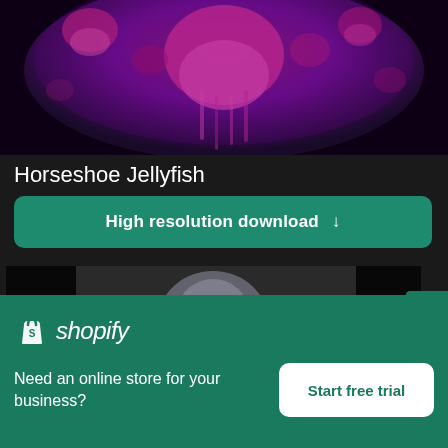[Figure (photo): Top portion of a jellyfish photograph with pink/magenta jellyfish on a dark purple background]
Horseshoe Jellyfish
High resolution download ↓
[Figure (photo): Blurry image of a person in dark setting, partially visible, with a close (X) button overlay]
[Figure (logo): Shopify advertisement banner with logo, tagline and CTA button]
Need an online store for your business?
Start free trial